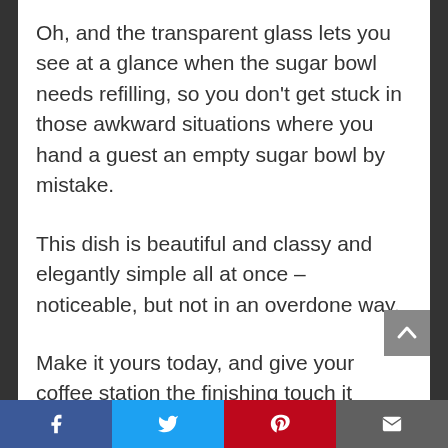Oh, and the transparent glass lets you see at a glance when the sugar bowl needs refilling, so you don't get stuck in those awkward situations where you hand a guest an empty sugar bowl by mistake.
This dish is beautiful and classy and elegantly simple all at once – noticeable, but not in an overdone way.
Make it yours today, and give your coffee station the finishing touch it needs.
Facebook | Twitter | Pinterest | Email